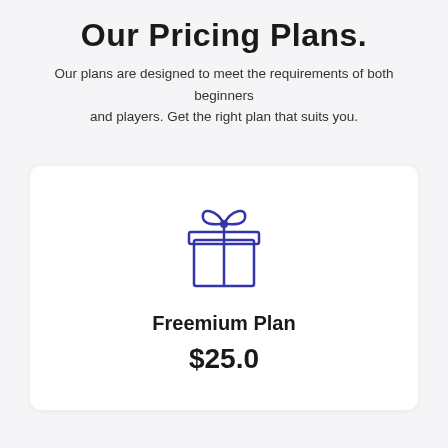Our Pricing Plans.
Our plans are designed to meet the requirements of both beginners and players. Get the right plan that suits you.
[Figure (illustration): Gift box icon with bow on top, drawn in blue outline style, representing a freemium plan]
Freemium Plan
$25.0